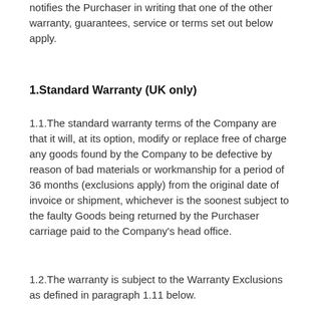notifies the Purchaser in writing that one of the other warranty, guarantees, service or terms set out below apply.
1.Standard Warranty (UK only)
1.1.The standard warranty terms of the Company are that it will, at its option, modify or replace free of charge any goods found by the Company to be defective by reason of bad materials or workmanship for a period of 36 months (exclusions apply) from the original date of invoice or shipment, whichever is the soonest subject to the faulty Goods being returned by the Purchaser carriage paid to the Company's head office.
1.2.The warranty is subject to the Warranty Exclusions as defined in paragraph 1.11 below.